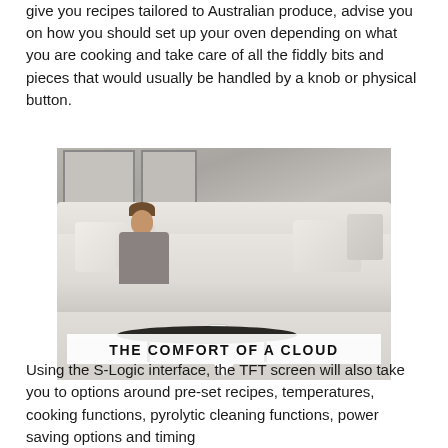The Smeg Linear SFP1TS comes with a TFT touch screen that will give you recipes tailored to Australian produce, advise you on how you should set up your oven depending on what you are cooking and take care of all the fiddly bits and pieces that would usually be handled by a knob or physical button.
[Figure (photo): Person relaxing on a white sofa with pillows, reading a book. A dark round coffee table with two mugs sits in front. Grey concrete-style wall in background. Text overlay reads 'THE COMFORT OF A CLOUD' with a speech-bubble arrow below.]
Using the S-Logic interface, the TFT screen will also take you to options around pre-set recipes, temperatures, cooking functions, pyrolytic cleaning functions, power saving options and timing